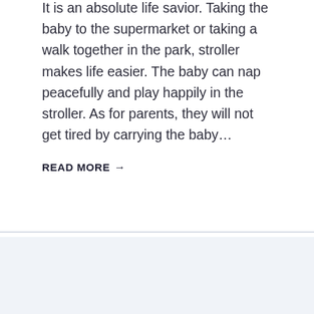It is an absolute life savior. Taking the baby to the supermarket or taking a walk together in the park, stroller makes life easier. The baby can nap peacefully and play happily in the stroller. As for parents, they will not get tired by carrying the baby…
READ MORE →
[Figure (photo): A smiling Black woman looking down, possibly reading or using a device, seated in a bright room with white shelving unit containing books and decorative items in the background.]